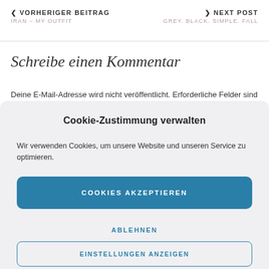< VORHERIGER BEITRAG  IRAN – MY OUTFIT  > NEXT POST  GREY. BLACK. SIMPLE. FALL
Schreibe einen Kommentar
Deine E-Mail-Adresse wird nicht veröffentlicht. Erforderliche Felder sind
Cookie-Zustimmung verwalten
Wir verwenden Cookies, um unsere Website und unseren Service zu optimieren.
COOKIES AKZEPTIEREN
ABLEHNEN
EINSTELLUNGEN ANZEIGEN